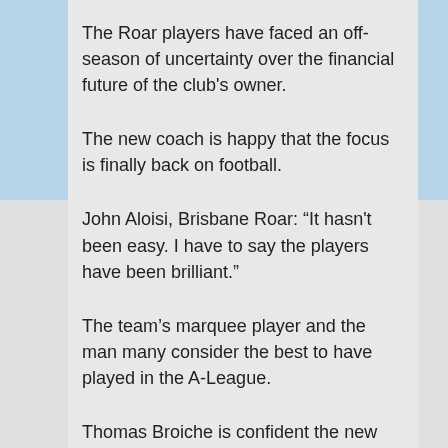The Roar players have faced an off-season of uncertainty over the financial future of the club's owner.
The new coach is happy that the focus is finally back on football.
John Aloisi, Brisbane Roar: “It hasn't been easy. I have to say the players have been brilliant.”
The team’s marquee player and the man many consider the best to have played in the A-League.
Thomas Broiche is confident the new coach can continue the club's winning ways.
Thomas Broiche, Brisbane Roar: “We had so many